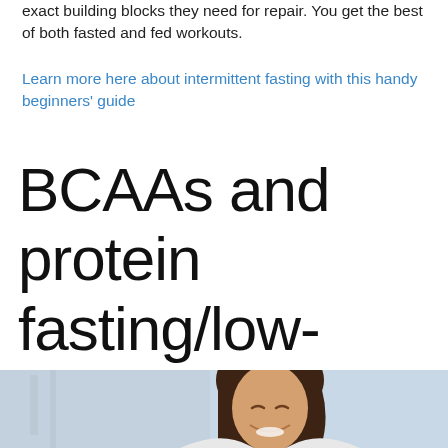exact building blocks they need for repair. You get the best of both fasted and fed workouts.
Learn more here about intermittent fasting with this handy beginners' guide
BCAAs and protein fasting/low-protein diets
[Figure (photo): A smiling young woman with dark hair, eyes closed, laughing, in a bright indoor setting.]